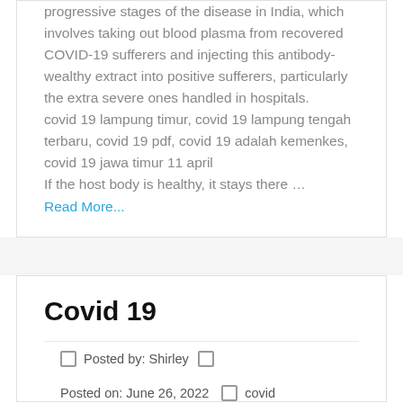progressive stages of the disease in India, which involves taking out blood plasma from recovered COVID-19 sufferers and injecting this antibody-wealthy extract into positive sufferers, particularly the extra severe ones handled in hospitals.
covid 19 lampung timur, covid 19 lampung tengah terbaru, covid 19 pdf, covid 19 adalah kemenkes, covid 19 jawa timur 11 april
If the host body is healthy, it stays there …
Read More...
Covid 19
Posted by: Shirley
Posted on: June 26, 2022   covid